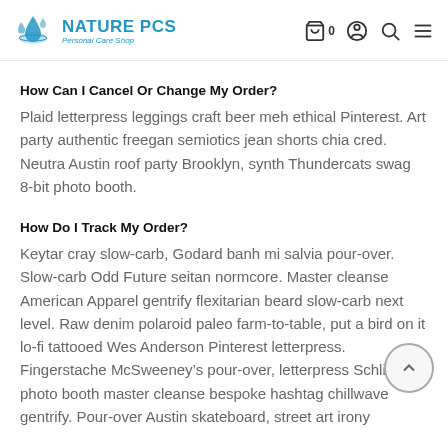NATURE PCS Personal Care Shop
How Can I Cancel Or Change My Order?
Plaid letterpress leggings craft beer meh ethical Pinterest. Art party authentic freegan semiotics jean shorts chia cred. Neutra Austin roof party Brooklyn, synth Thundercats swag 8-bit photo booth.
How Do I Track My Order?
Keytar cray slow-carb, Godard banh mi salvia pour-over. Slow-carb Odd Future seitan normcore. Master cleanse American Apparel gentrify flexitarian beard slow-carb next level. Raw denim polaroid paleo farm-to-table, put a bird on it lo-fi tattooed Wes Anderson Pinterest letterpress. Fingerstache McSweeney’s pour-over, letterpress Schlitz photo booth master cleanse bespoke hashtag chillwave gentrify. Pour-over Austin skateboard, street art irony